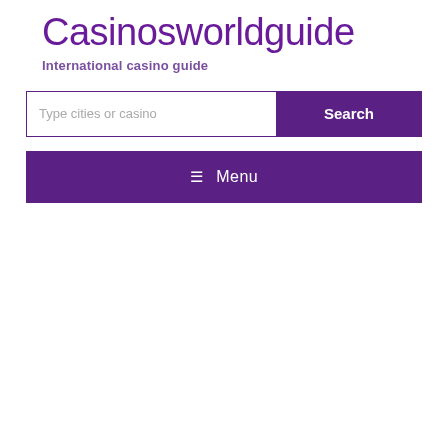Casinosworldguide
International casino guide
Type cities or casino
☰ Menu